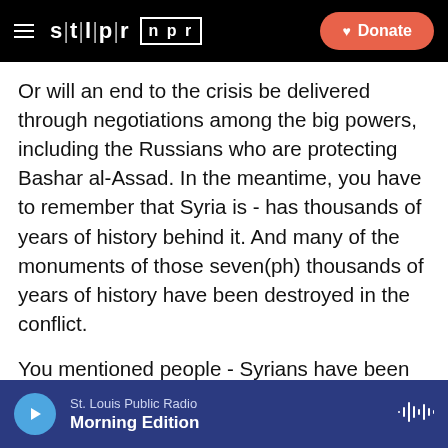STLPR NPR — Donate
Or will an end to the crisis be delivered through negotiations among the big powers, including the Russians who are protecting Bashar al-Assad. In the meantime, you have to remember that Syria is - has thousands of years of history behind it. And many of the monuments of those seven(ph) thousands of years of history have been destroyed in the conflict.
You mentioned people - Syrians have been killed. I think that 60,000 is probably the low end estimate. There have been reports talking about over 100,000. Not to say anything about hundreds upon hundreds of thousands of either displaced people inside Syria or refugees in Tu...
St. Louis Public Radio — Morning Edition